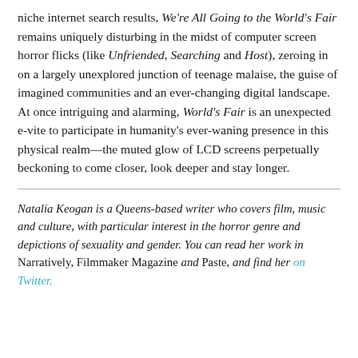niche internet search results, We're All Going to the World's Fair remains uniquely disturbing in the midst of computer screen horror flicks (like Unfriended, Searching and Host), zeroing in on a largely unexplored junction of teenage malaise, the guise of imagined communities and an ever-changing digital landscape. At once intriguing and alarming, World's Fair is an unexpected e-vite to participate in humanity's ever-waning presence in this physical realm—the muted glow of LCD screens perpetually beckoning to come closer, look deeper and stay longer.
Natalia Keogan is a Queens-based writer who covers film, music and culture, with particular interest in the horror genre and depictions of sexuality and gender. You can read her work in Narratively, Filmmaker Magazine and Paste, and find her on Twitter.